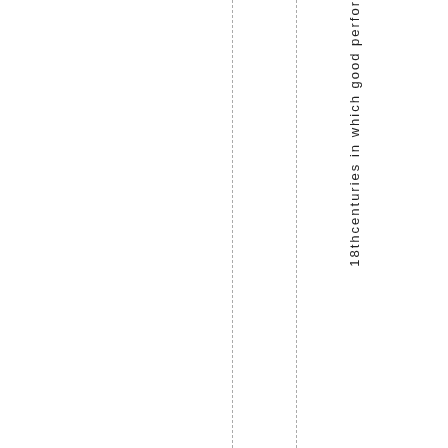18thcenturies in which good perfor